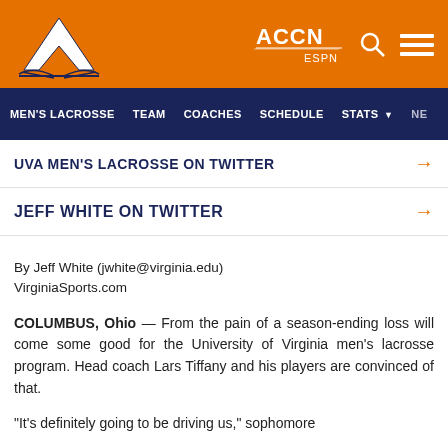[Figure (logo): University of Virginia V-sabre logo on orange background with ACCN ESPN logo, search icon, and menu icon]
MEN'S LACROSSE   TEAM   COACHES   SCHEDULE   STATS   NE
UVA MEN'S LACROSSE ON TWITTER →
JEFF WHITE ON TWITTER →
By Jeff White (jwhite@virginia.edu)
VirginiaSports.com
COLUMBUS, Ohio — From the pain of a season-ending loss will come some good for the University of Virginia men's lacrosse program. Head coach Lars Tiffany and his players are convinced of that.
“It’s definitely going to be driving us,” sophomore